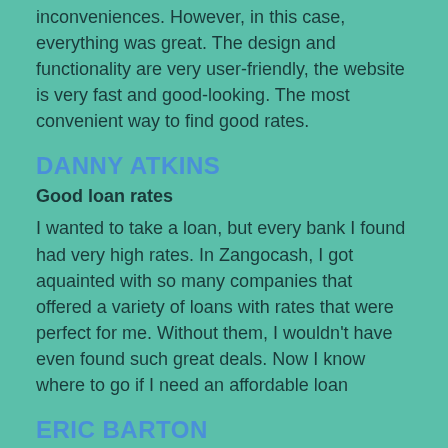inconveniences. However, in this case, everything was great. The design and functionality are very user-friendly, the website is very fast and good-looking. The most convenient way to find good rates.
DANNY ATKINS
Good loan rates
I wanted to take a loan, but every bank I found had very high rates. In Zangocash, I got aquainted with so many companies that offered a variety of loans with rates that were perfect for me. Without them, I wouldn't have even found such great deals. Now I know where to go if I need an affordable loan
ERIC BARTON
Possibility to get big loans
I needed a big loan, and many banks denied me it. When I found Zangocash, I didn't have much hope, but they